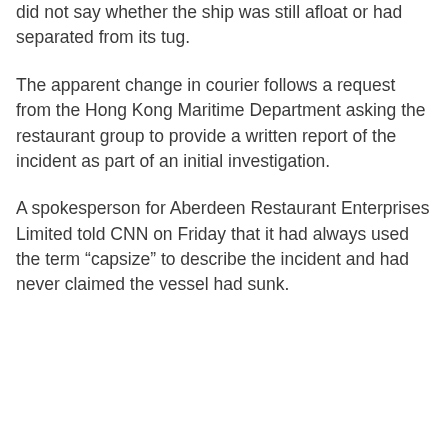did not say whether the ship was still afloat or had separated from its tug.
The apparent change in courier follows a request from the Hong Kong Maritime Department asking the restaurant group to provide a written report of the incident as part of an initial investigation.
A spokesperson for Aberdeen Restaurant Enterprises Limited told CNN on Friday that it had always used the term “capsize” to describe the incident and had never claimed the vessel had sunk.